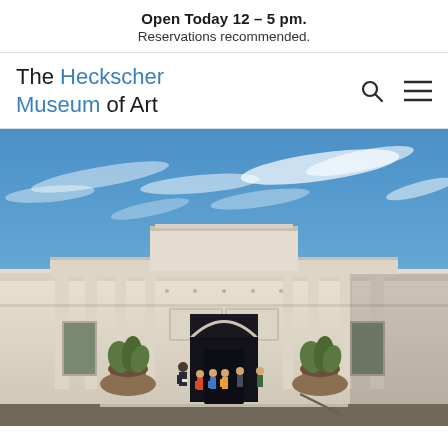Open Today 12 – 5 pm. Reservations recommended.
The Heckscher Museum of Art
[Figure (photo): Exterior photo of The Heckscher Museum of Art building: a neoclassical limestone facade with arched entrance, steps leading up to the door, people gathered at the entrance, green planters with tropical plants on either side, blue sky with wispy white clouds above.]